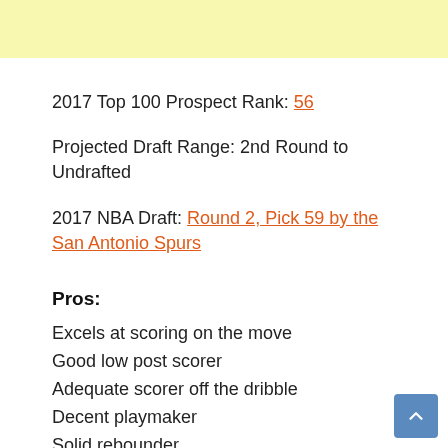2017 Top 100 Prospect Rank: 56
Projected Draft Range: 2nd Round to Undrafted
2017 NBA Draft: Round 2, Pick 59 by the San Antonio Spurs
Pros:
Excels at scoring on the move
Good low post scorer
Adequate scorer off the dribble
Decent playmaker
Solid rebounder
Adequate defender (partial)